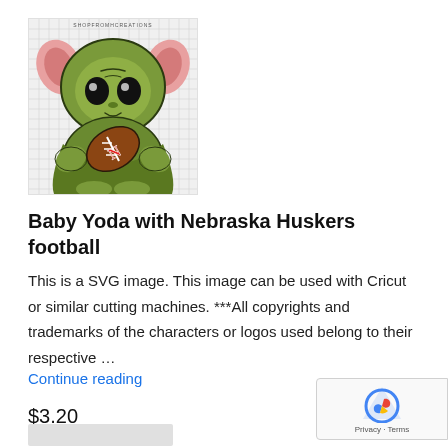[Figure (illustration): Baby Yoda character holding a Nebraska Huskers football, SVG clipart on grid background with watermark 'SHOPFROMHCREATIONS']
Baby Yoda with Nebraska Huskers football
This is a SVG image. This image can be used with Cricut or similar cutting machines. ***All copyrights and trademarks of the characters or logos used belong to their respective …
Continue reading
$3.20